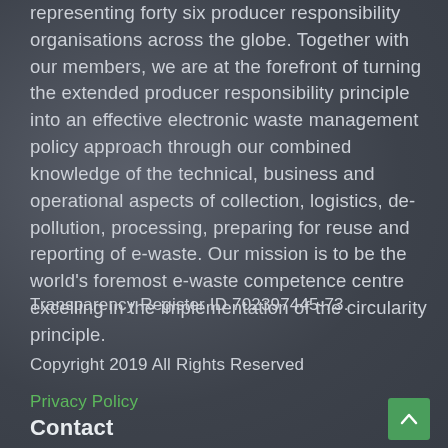representing forty six producer responsibility organisations across the globe. Together with our members, we are at the forefront of turning the extended producer responsibility principle into an effective electronic waste management policy approach through our combined knowledge of the technical, business and operational aspects of collection, logistics, de-pollution, processing, preparing for reuse and reporting of e-waste. Our mission is to be the world's foremost e-waste competence centre excelling in the implementation of the circularity principle.
Transparency Register ID 702397445-73.
Copyright 2019 All Rights Reserved
Privacy Policy
Contact